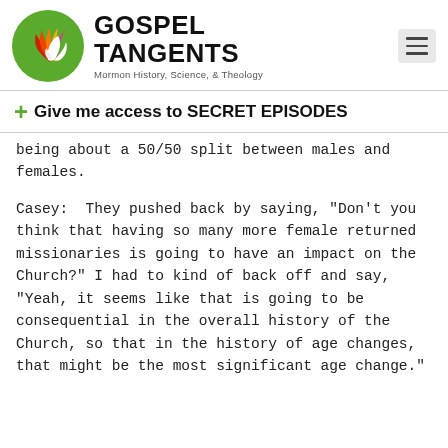[Figure (logo): Gospel Tangents logo: green circle with white dove/flame graphic, beside bold text 'GOSPEL TANGENTS' and subtitle 'Mormon History, Science, & Theology']
+ Give me access to SECRET EPISODES
being about a 50/50 split between males and females.
Casey:  They pushed back by saying, "Don't you think that having so many more female returned missionaries is going to have an impact on the Church?" I had to kind of back off and say, "Yeah, it seems like that is going to be consequential in the overall history of the Church, so that in the history of age changes, that might be the most significant age change."